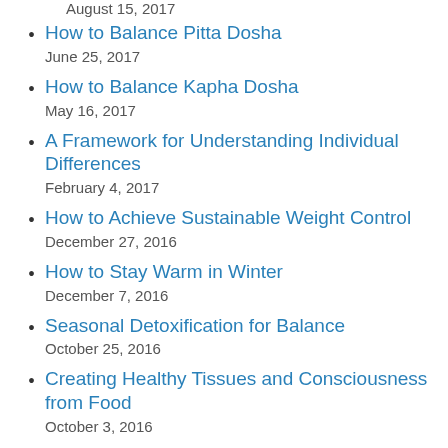August 15, 2017
How to Balance Pitta Dosha
June 25, 2017
How to Balance Kapha Dosha
May 16, 2017
A Framework for Understanding Individual Differences
February 4, 2017
How to Achieve Sustainable Weight Control
December 27, 2016
How to Stay Warm in Winter
December 7, 2016
Seasonal Detoxification for Balance
October 25, 2016
Creating Healthy Tissues and Consciousness from Food
October 3, 2016